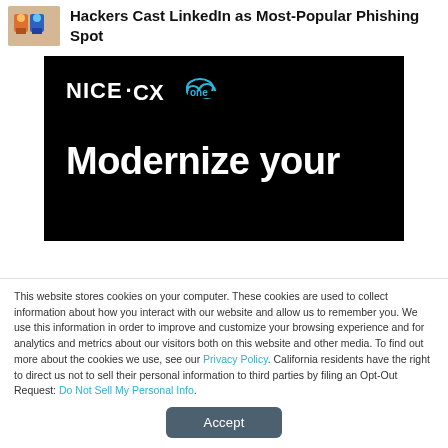Hackers Cast LinkedIn as Most-Popular Phishing Spot
[Figure (screenshot): NICE CXone advertisement banner with black background showing 'NICE·CXone' logo and 'Modernize your' text in white]
This website stores cookies on your computer. These cookies are used to collect information about how you interact with our website and allow us to remember you. We use this information in order to improve and customize your browsing experience and for analytics and metrics about our visitors both on this website and other media. To find out more about the cookies we use, see our Privacy Policy. California residents have the right to direct us not to sell their personal information to third parties by filing an Opt-Out Request: Do Not Sell My Personal Info.